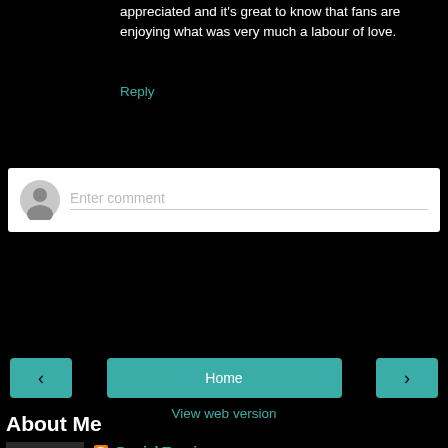appreciated and it's great to know that fans are enjoying what was very much a labour of love.
Reply
[Figure (other): Comment input box with avatar placeholder and 'Enter comment' placeholder text]
[Figure (other): Navigation buttons: left arrow, Home, right arrow, and View web version link]
About Me
[Figure (photo): Profile photo of Daniel Tessier]
Daniel Tessier
Brighton and Hove, East Sussex, United Kingdom
Geek. Skinny white guy. Older than he looks. Younger than he feels. Reads, watches, plays and writes. Has been compared to the third, fourth, fifth, sixth, seventh, eighth, tenth, eleventh and twelfth Doctors, and the Dream Lord. Plus Dr. Smith